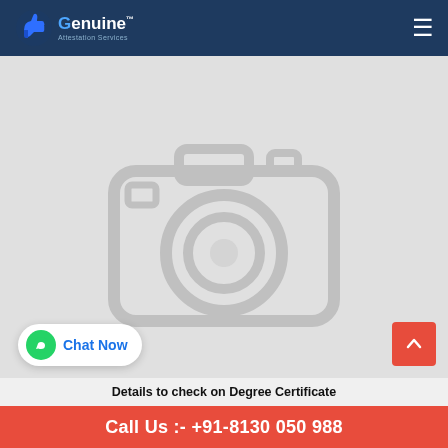[Figure (logo): Genuine Attestation Services logo with thumb-up icon on dark navy header bar with hamburger menu]
[Figure (photo): Placeholder image with camera icon on light grey background — image not loaded]
Chat Now
Details to check on Degree Certificate
Call Us :- +91-8130 050 988